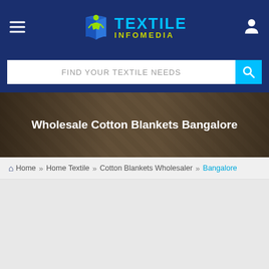[Figure (logo): Textile Infomedia logo with stylized blue-green book/person icon and text 'TEXTILE' in cyan and 'INFOMEDIA' in yellow-green]
FIND YOUR TEXTILE NEEDS
[Figure (photo): Banner image with crowd/people in fabric market background, darkened overlay]
Wholesale Cotton Blankets Bangalore
Home » Home Textile » Cotton Blankets Wholesaler » Bangalore